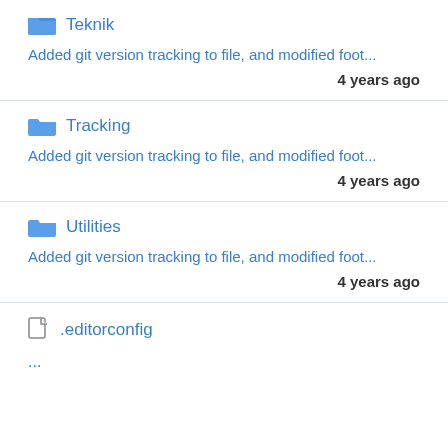Teknik
Added git version tracking to file, and modified foot...
4 years ago
Tracking
Added git version tracking to file, and modified foot...
4 years ago
Utilities
Added git version tracking to file, and modified foot...
4 years ago
.editorconfig
...